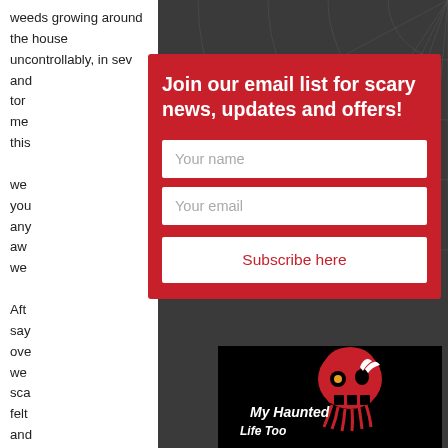weeds growing around the house uncontrollably, in several ... and ... torn ... me ... this ... we ... you ... any ... aw... we...
Aft... say... ove... we... sca... felt... and... hap...
[Figure (infographic): Email subscription modal popup with red background. Title: 'Join our email list for scary news, updates and offers!'. Two input fields: 'Your name' and 'Your email'. A white button labeled 'Subscribe here' in red text.]
[Figure (logo): My Haunted Life Too logo: red skull with one eye on black background with white script text 'My Haunted Life Too']